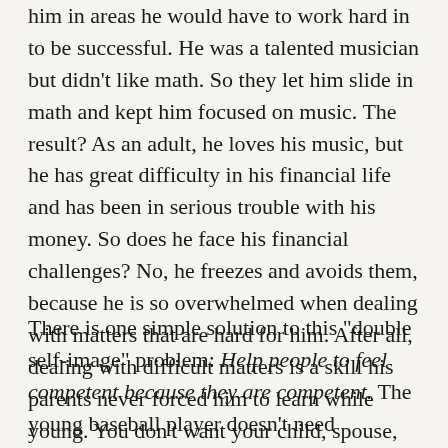him in areas he would have to work hard in to be successful. He was a talented musician but didn't like math. So they let him slide in math and kept him focused on music. The result? As an adult, he loves his music, but he has great difficulty in his financial life and has been in serious trouble with his money. So does he face his financial challenges? No, he freezes and avoids them, because he is so overwhelmed when dealing with matters that are hard for him. After all, dealing with difficult matters is a skill his parents never forced him to learn while young. You don't want your child, spouse, or employee to have this experience.
There is one simple solution to this "double self-image" problem: Help people to feel competent because they are competent. The young baseball player doesn't need groundless praise; he needs parents and coaches who will...